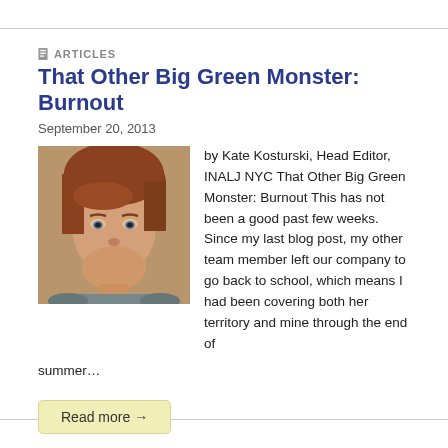ARTICLES
That Other Big Green Monster: Burnout
September 20, 2013
[Figure (photo): Headshot of Kate Kosturski, a woman with short reddish-brown hair, smiling slightly, wearing a gray top.]
by Kate Kosturski, Head Editor, INALJ NYC That Other Big Green Monster: Burnout This has not been a good past few weeks. Since my last blog post, my other team member left our company to go back to school, which means I had been covering both her territory and mine through the end of summer…
Read more →